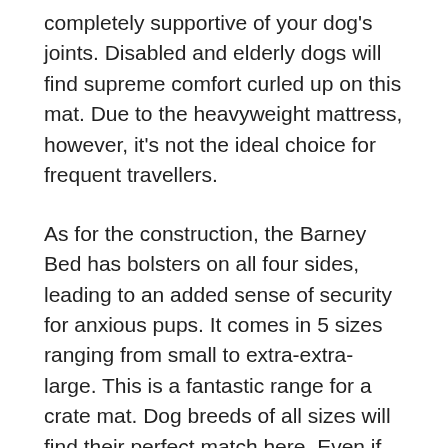completely supportive of your dog's joints. Disabled and elderly dogs will find supreme comfort curled up on this mat. Due to the heavyweight mattress, however, it's not the ideal choice for frequent travellers.
As for the construction, the Barney Bed has bolsters on all four sides, leading to an added sense of security for anxious pups. It comes in 5 sizes ranging from small to extra-extra-large. This is a fantastic range for a crate mat. Dog breeds of all sizes will find their perfect match here. Even if your Great Dane loves to sprawl, the XXL Barney Bed will suit them beautifully.